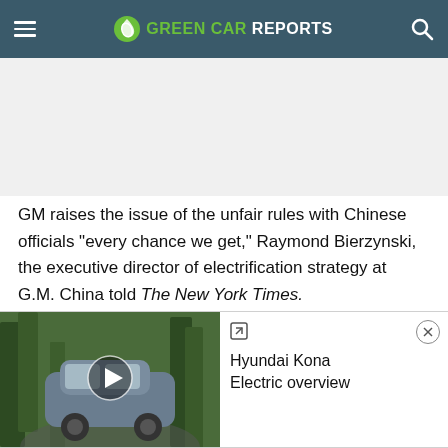GREEN CAR REPORTS
GM raises the issue of the unfair rules with Chinese officials "every chance we get," Raymond Bierzynski, the executive director of electrification strategy at G.M. China told The New York Times.
[Figure (screenshot): Video player overlay showing Hyundai Kona Electric with play button and title 'Hyundai Kona Electric overview']